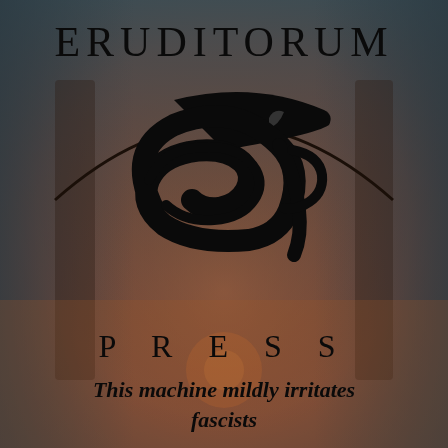[Figure (logo): Eruditorum Press logo — stylized 'EP' monogram with a feather/pen nib shape in black over a muted brownish-teal painterly background depicting an archway interior]
ERUDITORUM
PRESS
This machine mildly irritates fascists